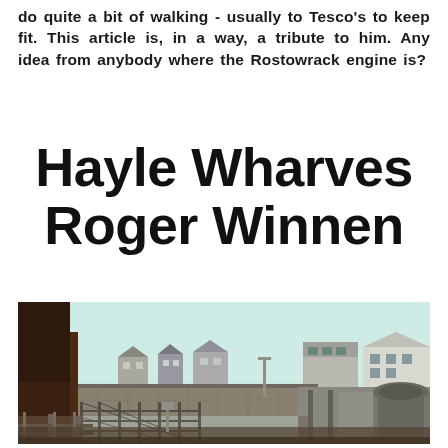do quite a bit of walking - usually to Tesco's to keep fit.  This article is, in a way, a tribute to him.  Any idea from anybody where the Rostowrack engine is?
Hayle Wharves
Roger Winnen
[Figure (photo): Black and white photograph of Hayle Wharves showing railway tracks in the foreground with fencing alongside, a road to the right, stone walls, and buildings including houses in the background under a pale sky.]